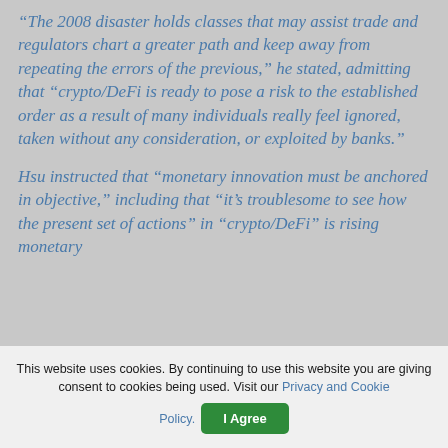“The 2008 disaster holds classes that may assist trade and regulators chart a greater path and keep away from repeating the errors of the previous,” he stated, admitting that “crypto/DeFi is ready to pose a risk to the established order as a result of many individuals really feel ignored, taken without any consideration, or exploited by banks.”
Hsu instructed that “monetary innovation must be anchored in objective,” including that “it’s troublesome to see how the present set of actions” in “crypto/DeFi” is rising monetary
This website uses cookies. By continuing to use this website you are giving consent to cookies being used. Visit our Privacy and Cookie Policy.